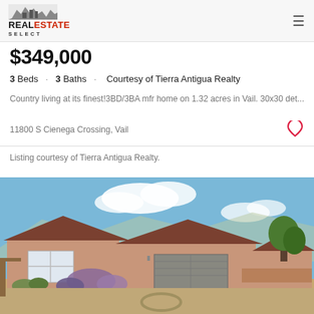REAL ESTATE SELECT
$349,000
3 Beds · 3 Baths · Courtesy of Tierra Antigua Realty
Country living at its finest!3BD/3BA mfr home on 1.32 acres in Vail. 30x30 det...
11800 S Cienega Crossing, Vail
Listing courtesy of Tierra Antigua Realty.
[Figure (photo): Exterior photo of a single-story stucco home with a two-car garage, desert landscaping with shrubs and gravel, and a blue sky with clouds in the background.]